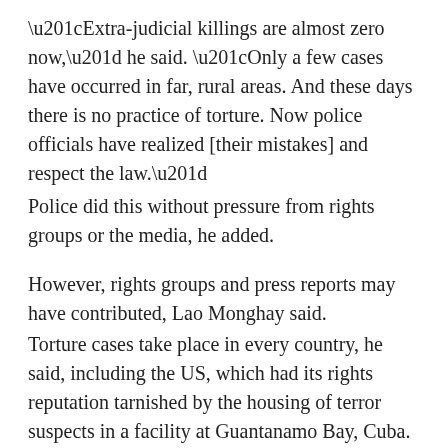“Extra-judicial killings are almost zero now,” he said. “Only a few cases have occurred in far, rural areas. And these days there is no practice of torture. Now police officials have realized [their mistakes] and respect the law.”
Police did this without pressure from rights groups or the media, he added.
However, rights groups and press reports may have contributed, Lao Monghay said.
Torture cases take place in every country, he said, including the US, which had its rights reputation tarnished by the housing of terror suspects in a facility at Guantanamo Bay, Cuba.